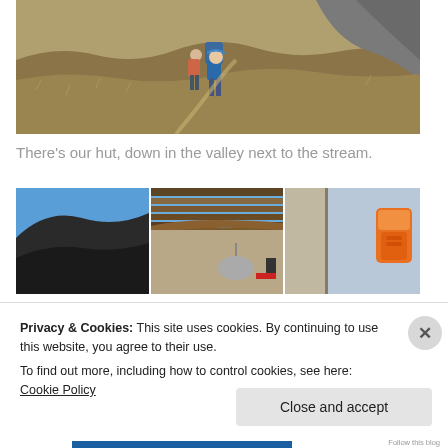[Figure (photo): Two hikers on a trail through dry, tawny grassland hills with rocky outcroppings in the background. One hiker carries a large backpack and wears a blue jacket and hat.]
There's our hut, down in the valley next to the stream.
[Figure (photo): Three-panel photo: left panel shows a steep dark volcanic hillside under blue sky; center panel shows wooden beam ceiling/eaves of a mountain hut with a satellite dish below; right panel shows a doorway or opening with a colorful backpack.]
Privacy & Cookies: This site uses cookies. By continuing to use this website, you agree to their use.
To find out more, including how to control cookies, see here: Cookie Policy
Close and accept